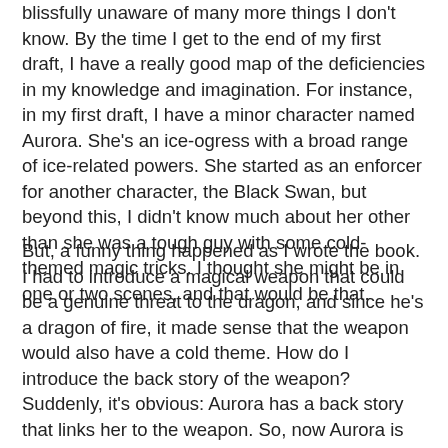blissfully unaware of many more things I don't know. By the time I get to the end of my first draft, I have a really good map of the deficiencies in my knowledge and imagination. For instance, in my first draft, I have a minor character named Aurora. She's an ice-ogress with a broad range of ice-related powers. She started as an enforcer for another character, the Black Swan, but beyond this, I didn't know much about her other than she was a tough guy with some cold-themed magic tricks. I thought she might be in one or two scenes, and that would be that.
But, a funny thing happened as I wrote the book. I had to introduce a magical weapon that could be a genuine threat to the dragon, and since he's a dragon of fire, it made sense that the weapon would also have a cold theme. How do I introduce the back story of the weapon? Suddenly, it's obvious: Aurora has a back story that links her to the weapon. So, now Aurora is along for the quest, an actual member of the team rather than just a passing cast member. But, I hadn't really developed her much in my imagination. She wasn't even a she when I started writing; she had started out as a tough male ogre, and I had only flipped her